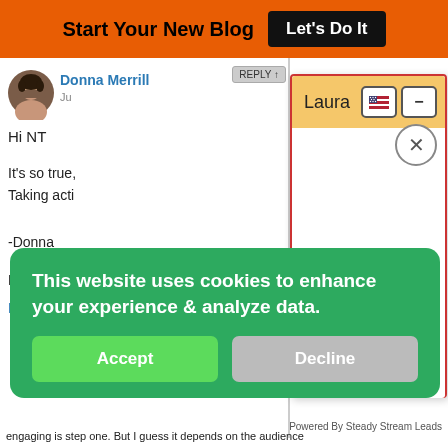[Figure (screenshot): Orange top banner with 'Start Your New Blog' text and 'Let's Do It' black button]
[Figure (screenshot): Blog comment from Donna Merrill with avatar photo, partially visible text 'Hi NT', 'It's so true,', 'Taking acti', '-Donna', 'Donna Me', 'Blogging' link. A Laura popup dialog overlaps the right side with orange header, flag icon, minimize button, and close X button. A green cookie consent banner overlays the bottom with Accept and Decline buttons.]
Hi NT
It's so true,
Taking acti
-Donna
Donna Me
Blogging
This website uses cookies to enhance your experience & analyze data.
engaging is step one. But I guess it depends on the audience
Powered By Steady Stream Leads